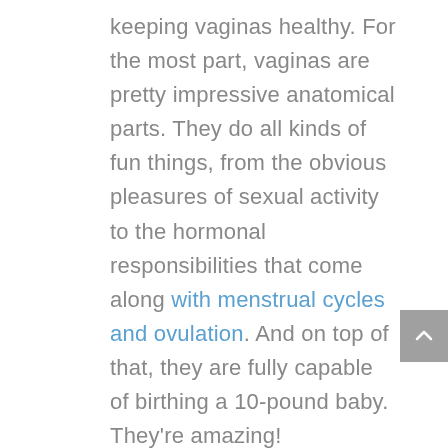keeping vaginas healthy. For the most part, vaginas are pretty impressive anatomical parts. They do all kinds of fun things, from the obvious pleasures of sexual activity to the hormonal responsibilities that come along with menstrual cycles and ovulation. And on top of that, they are fully capable of birthing a 10-pound baby. They're amazing!

The good news is that your vagina is empowered, smart and efficient. She knows – for the most part – how to take care of herself and she is a self-cleaning